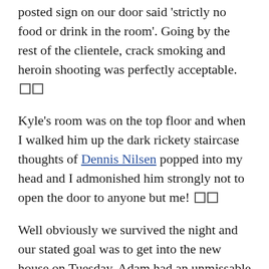posted sign on our door said 'strictly no food or drink in the room'. Going by the rest of the clientele, crack smoking and heroin shooting was perfectly acceptable. □□
Kyle’s room was on the top floor and when I walked him up the dark rickety staircase thoughts of Dennis Nilsen popped into my head and I admonished him strongly not to open the door to anyone but me! □□
Well obviously we survived the night and our stated goal was to get into the new house on Tuesday. Adam had an unmissable work call at 1pm and lo and behold, the moment he